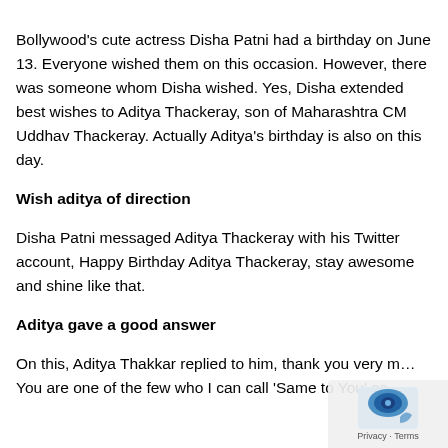Bollywood's cute actress Disha Patni had a birthday on June 13. Everyone wished them on this occasion. However, there was someone whom Disha wished. Yes, Disha extended best wishes to Aditya Thackeray, son of Maharashtra CM Uddhav Thackeray. Actually Aditya's birthday is also on this day.
Wish aditya of direction
Disha Patni messaged Aditya Thackeray with his Twitter account, Happy Birthday Aditya Thackeray, stay awesome and shine like that.
Aditya gave a good answer
On this, Aditya Thakkar replied to him, thank you very m... You are one of the few who I can call 'Same to You' as ...